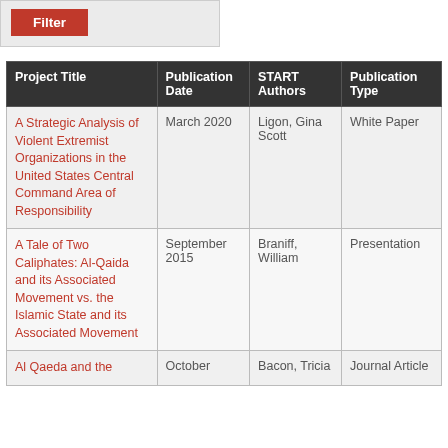[Figure (screenshot): Red Filter button UI element on a light gray background]
| Project Title | Publication Date | START Authors | Publication Type |
| --- | --- | --- | --- |
| A Strategic Analysis of Violent Extremist Organizations in the United States Central Command Area of Responsibility | March 2020 | Ligon, Gina Scott | White Paper |
| A Tale of Two Caliphates: Al-Qaida and its Associated Movement vs. the Islamic State and its Associated Movement | September 2015 | Braniff, William | Presentation |
| Al Qaeda and the | October | Bacon, Tricia | Journal Article |